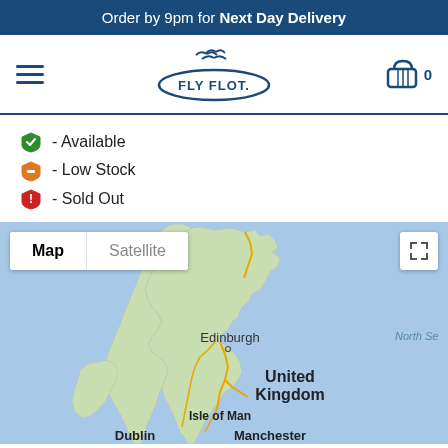Order by 9pm for Next Day Delivery
[Figure (logo): Fly Flot logo with seagulls above an oval containing the text FLY FLOT]
- Available (green shield icon)
- Low Stock (orange shield icon)
- Sold Out (red shield icon)
[Figure (map): Google Map showing the United Kingdom including Scotland with Edinburgh labeled, United Kingdom label, Isle of Man, Dublin, Manchester, and North Sea visible. Map/Satellite toggle buttons at top left, fullscreen button at top right.]